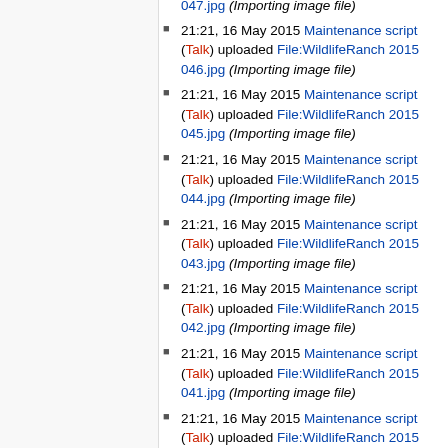21:21, 16 May 2015 Maintenance script (Talk) uploaded File:WildlifeRanch 2015 046.jpg (Importing image file)
21:21, 16 May 2015 Maintenance script (Talk) uploaded File:WildlifeRanch 2015 045.jpg (Importing image file)
21:21, 16 May 2015 Maintenance script (Talk) uploaded File:WildlifeRanch 2015 044.jpg (Importing image file)
21:21, 16 May 2015 Maintenance script (Talk) uploaded File:WildlifeRanch 2015 043.jpg (Importing image file)
21:21, 16 May 2015 Maintenance script (Talk) uploaded File:WildlifeRanch 2015 042.jpg (Importing image file)
21:21, 16 May 2015 Maintenance script (Talk) uploaded File:WildlifeRanch 2015 041.jpg (Importing image file)
21:21, 16 May 2015 Maintenance script (Talk) uploaded File:WildlifeRanch 2015 040.jpg (Importing image file)
21:21, 16 May 2015 Maintenance script (Talk) uploaded File:WildlifeRanch 2015